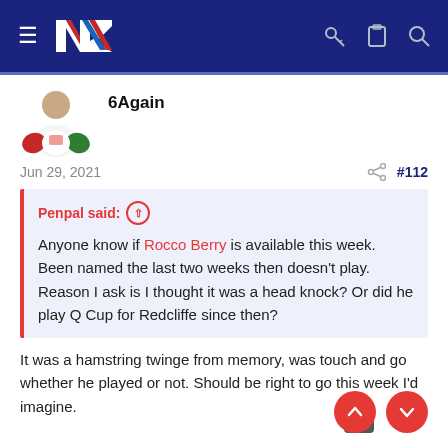NZ Rugby League forum navigation bar with logo, hamburger menu, key icon, clipboard icon, and search icon
6Again
Jun 29, 2021  #112
Penpal said: ↑  Anyone know if Rocco Berry is available this week. Been named the last two weeks then doesn't play. Reason I ask is I thought it was a head knock? Or did he play Q Cup for Redcliffe since then?
It was a hamstring twinge from memory, was touch and go whether he played or not. Should be right to go this week I'd imagine.